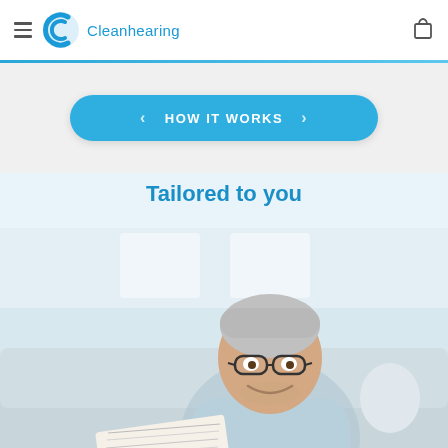Cleanhearing
HOW IT WORKS
Tailored to you
[Figure (photo): Smiling senior man with grey hair and glasses, wearing a light blue sweater, sitting on a sofa and reading a newspaper]